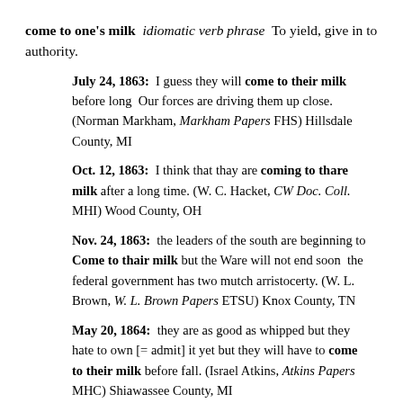come to one's milk  idiomatic verb phrase  To yield, give in to authority.
July 24, 1863:  I guess they will come to their milk before long  Our forces are driving them up close. (Norman Markham, Markham Papers FHS) Hillsdale County, MI
Oct. 12, 1863:  I think that thay are coming to thare milk after a long time. (W. C. Hacket, CW Doc. Coll. MHI) Wood County, OH
Nov. 24, 1863:  the leaders of the south are beginning to Come to thair milk but the Ware will not end soon  the federal government has two mutch arristocerty. (W. L. Brown, W. L. Brown Papers ETSU) Knox County, TN
May 20, 1864:  they are as good as whipped but they hate to own [= admit] it yet but they will have to come to their milk before fall. (Israel Atkins, Atkins Papers MHC) Shiawassee County, MI